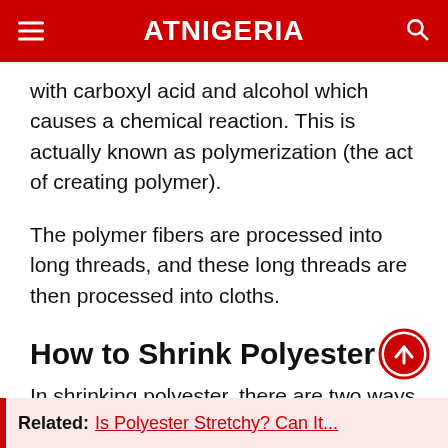ATNIGERIA
with carboxyl acid and alcohol which causes a chemical reaction. This is actually known as polymerization (the act of creating polymer).
The polymer fibers are processed into long threads, and these long threads are then processed into cloths.
How to Shrink Polyester
In shrinking polyester, there are two ways of doing this, they are: